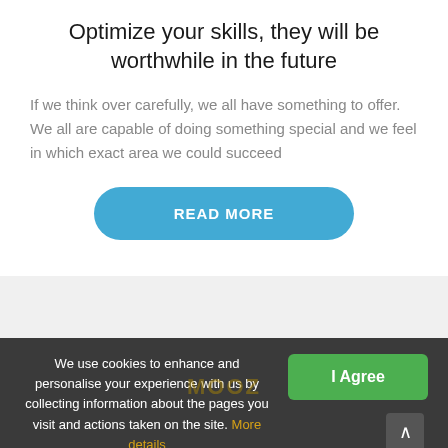Optimize your skills, they will be worthwhile in the future
If we think over carefully, we all have something to offer. We all are capable of doing something special and we feel in which exact area we could succeed
[Figure (other): Blue pill-shaped button reading READ MORE]
We use cookies to enhance and personalise your experience with us by collecting information about the pages you visit and actions taken on the site. More details
[Figure (other): Green I Agree button in cookie consent bar]